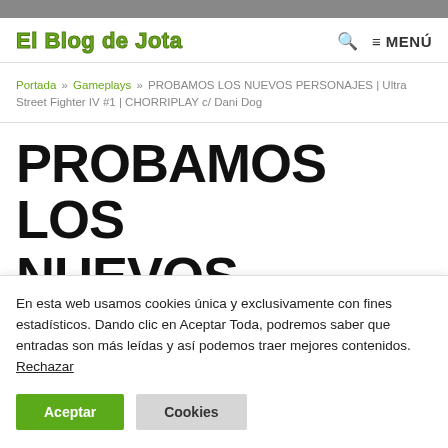El Blog de Jota
Portada » Gameplays » PROBAMOS LOS NUEVOS PERSONAJES | Ultra Street Fighter IV #1 | CHORRIPLAY c/ Dani Dog
PROBAMOS LOS NUEVOS
En esta web usamos cookies única y exclusivamente con fines estadísticos. Dando clic en Aceptar Toda, podremos saber que entradas son más leídas y así podemos traer mejores contenidos. Rechazar
Aceptar | Cookies